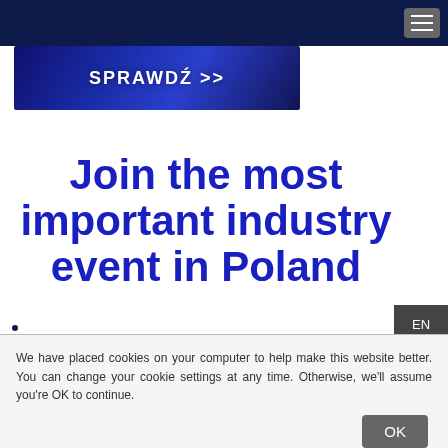[Figure (illustration): Blue textured banner image with bold white text 'SPRAWDŹ >>']
Join the most important industry event in Poland
[Figure (other): Language switcher overlay showing EN and PL options on dark grey background]
We have placed cookies on your computer to help make this website better. You can change your cookie settings at any time. Otherwise, we'll assume you're OK to continue.